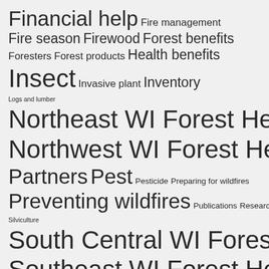Financial help Fire management Fire season Firewood Forest benefits Foresters Forest products Health benefits Insect Invasive plant Inventory Logs and lumber Northeast WI Forest Health Northwest WI Forest Health Partners Pest Pesticide Preparing for wildfires Preventing wildfires Publications Research Silviculture South Central WI Forest Health Southeast WI Forest Health Statewide Forest Health Taking action Technical assistance